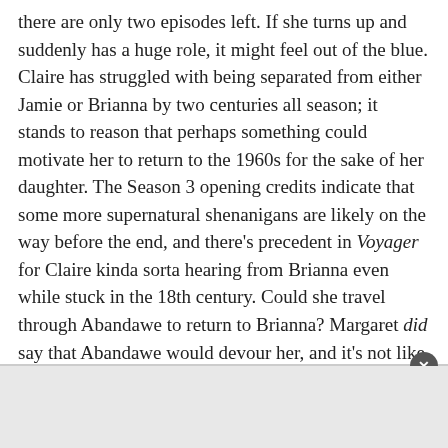there are only two episodes left. If she turns up and suddenly has a huge role, it might feel out of the blue. Claire has struggled with being separated from either Jamie or Brianna by two centuries all season; it stands to reason that perhaps something could motivate her to return to the 1960s for the sake of her daughter. The Season 3 opening credits indicate that some more supernatural shenanigans are likely on the way before the end, and there's precedent in Voyager for Claire kinda sorta hearing from Brianna even while stuck in the 18th century. Could she travel through Abandawe to return to Brianna? Margaret did say that Abandawe would devour her, and it's not like Claire will die in Season 3 when there's a Season 4 on the